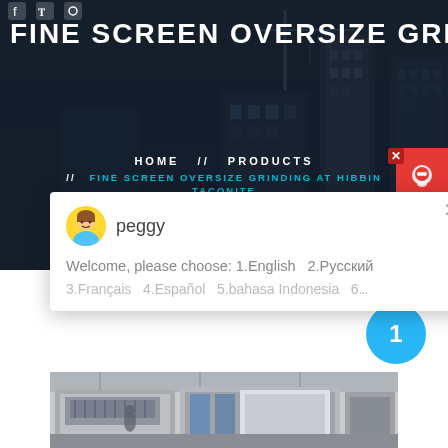[Figure (screenshot): Dark hero banner with urban/industrial building background showing text: FINE SCREEN OVERSIZE GRINDI... with navigation breadcrumb: HOME // PRODUCTS // FINE SCREEN OVERSIZE GRINDING AT HIBBIN... TACONITE]
FINE SCREEN OVERSIZE GRINDI
HOME // PRODUCTS // FINE SCREEN OVERSIZE GRINDING AT HIBBIN... TACONITE
[Figure (screenshot): Chat popup widget with avatar named peggy. Message: Welcome, please choose: 1.English 2.Русский 3.Français 4.Español 5.bahasa Indonesia 6...]
peggy
Welcome, please choose: 1.English  2.Русский 3.Français  4.Español  5.bahasa Indonesia  6...
Latest Projects
[Figure (photo): Industrial machinery/screening equipment in a plant facility, partially visible at bottom of page]